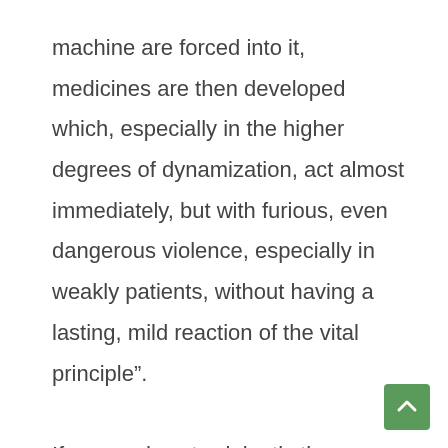machine are forced into it, medicines are then developed which, especially in the higher degrees of dynamization, act almost immediately, but with furious, even dangerous violence, especially in weakly patients, without having a lasting, mild reaction of the vital principle". If a remedy acts violently the reaction of the vital force will be equally vigorously. Therefore the remedy will most probabl...